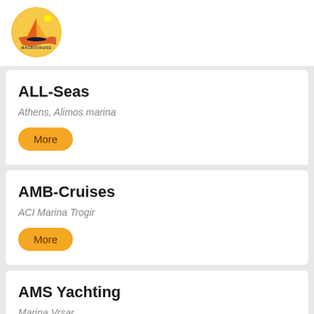[Figure (logo): MacroCruise logo: circular yellow badge with sailboat and sun icon and text 'MACROCRUISE']
ALL-Seas
Athens, Alimos marina
More
AMB-Cruises
ACI Marina Trogir
More
AMS Yachting
Marina Vrsar
More